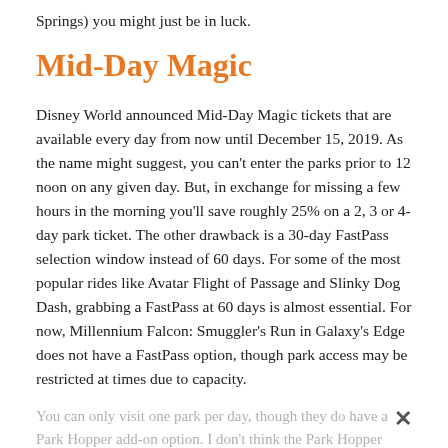Springs) you might just be in luck.
Mid-Day Magic
Disney World announced Mid-Day Magic tickets that are available every day from now until December 15, 2019.  As the name might suggest, you can't enter the parks prior to 12 noon on any given day.  But, in exchange for missing a few hours in the morning you'll save roughly 25% on a 2, 3 or 4-day park ticket.  The other drawback is a 30-day FastPass selection window instead of 60 days.  For some of the most popular rides like Avatar Flight of Passage and Slinky Dog Dash, grabbing a FastPass at 60 days is almost essential.  For now, Millennium Falcon: Smuggler's Run in Galaxy's Edge does not have a FastPass option, though park access may be restricted at times due to capacity.
You can only visit one park per day, though they do have a Park Hopper add-on option.  I don't think the Park Hopper